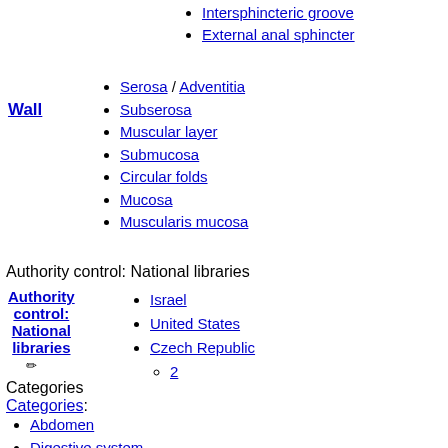Intersphincteric groove
External anal sphincter
Serosa / Adventitia
Subserosa
Muscular layer
Submucosa
Circular folds
Mucosa
Muscularis mucosa
Authority control: National libraries
Israel
United States
Czech Republic
2
Categories
Categories:
Abdomen
Digestive system
Endocrine system
Routes of administration